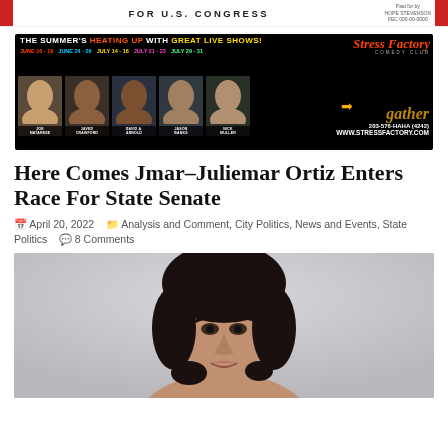[Figure (photo): Political advertisement banner: 'FOR U.S. CONGRESS' with red blocks on sides and 'Paid for by' disclosure text.]
[Figure (photo): Stress Factory Comedy Club advertisement: 'THE SUMMER'S HEATING UP WITH GREAT LIVE SHOWS!' with dates June 16-19, June 24-26, July 14-16, July 21-23, July 29-31. Performers: Joe Matarese, Javed Crawford, David A. Arnold, Jason Banks, Nick Muller. Phone: 203-576-HAHA (4242). Website: WWW.STRESSFACTORY.COM]
Here Comes Jmar–Juliemar Ortiz Enters Race For State Senate
April 20, 2022   Analysis and Comment, City Politics, News and Events, State Politics   8 Comments
[Figure (photo): Portrait photograph of Juliemar Ortiz, a young woman with dark hair, against a light gray background.]